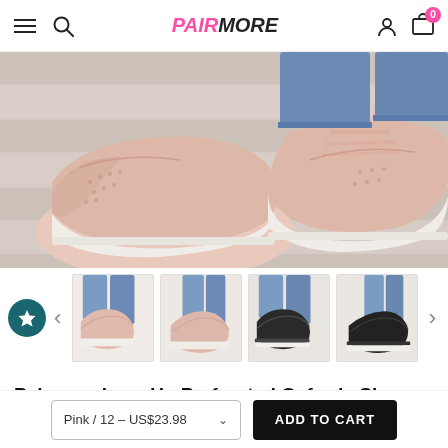PAIRMORE navigation header with hamburger menu, search, logo, account, and cart icons
[Figure (photo): Close-up photo of pink perforated oxford shoes with laces on a light wood background]
[Figure (photo): Thumbnail gallery of four product images: pink oxfords (front view), pink oxfords (side/angle view), black oxfords (front view), black oxfords (side view), all worn with jeans]
Pairmore Lace Up Perforated Oxfords Shoes
Pink / 12 - US$23.98
ADD TO CART